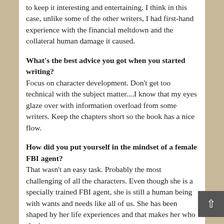to keep it interesting and entertaining. I think in this case, unlike some of the other writers, I had first-hand experience with the financial meltdown and the collateral human damage it caused.
What's the best advice you got when you started writing? Focus on character development. Don't get too technical with the subject matter....I know that my eyes glaze over with information overload from some writers. Keep the chapters short so the book has a nice flow.
How did you put yourself in the mindset of a female FBI agent? That wasn't an easy task. Probably the most challenging of all the characters. Even though she is a specially trained FBI agent, she is still a human being with wants and needs like all of us. She has been shaped by her life experiences and that makes her who she is.
The ending of the book is open-ended. Will we see these characters again? Yes, there will be a sequel and some of the characters will